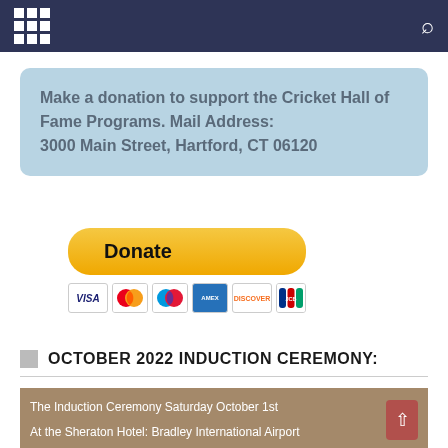Navigation bar with grid menu and search icon
Make a donation to support the Cricket Hall of Fame Programs. Mail Address: 3000 Main Street, Hartford, CT 06120
[Figure (other): PayPal Donate button with payment card icons (VISA, Mastercard, Maestro, American Express, Discover, JCB)]
OCTOBER 2022 INDUCTION CEREMONY:
[Figure (photo): Photo of a hotel ballroom/event space with overlay text: 'The Induction Ceremony Saturday October 1st' and 'At the Sheraton Hotel: Bradley International Airport']